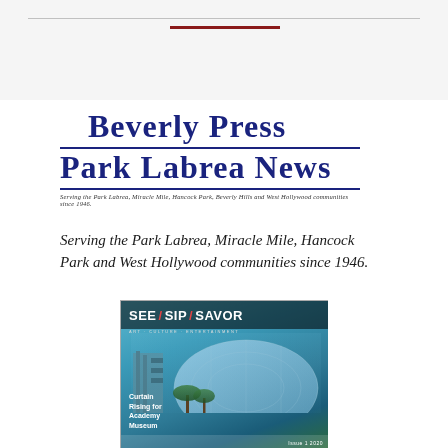[Figure (logo): Beverly Press Park Labrea News newspaper logo with tagline: Serving the Park Labrea, Miracle Mile, Hancock Park, Beverly Hills and West Hollywood communities since 1946.]
Serving the Park Labrea, Miracle Mile, Hancock Park and West Hollywood communities since 1946.
[Figure (photo): Magazine cover for SEE / SIP / SAVOR – Art, Culture, Entertainment publication featuring a glass dome building (Academy Museum) with palm trees and text reading 'Curtain Rising for Academy Museum']